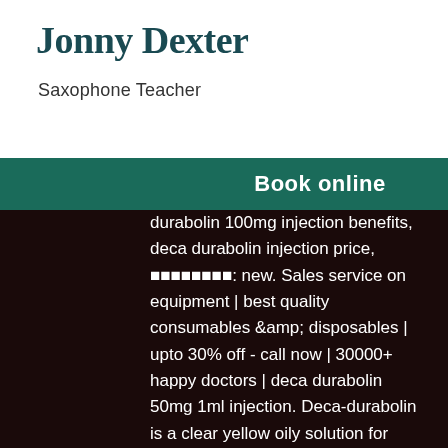Jonny Dexter
Saxophone Teacher
Book online
durabolin 100mg injection benefits, deca durabolin injection price,         : new. Sales service on equipment | best quality consumables &amp; disposables | upto 30% off - call now | 30000+ happy doctors | deca durabolin 50mg 1ml injection. Deca-durabolin is a clear yellow oily solution for injection containing 50 mg/ml of the active ingredient nandrolone decanoate. It is used to treat:. Ambitchious - offering deca-durabolin injection, nandrolone decanoate injection, nandrolone decanoate 50 mg, nandrolone phenylpropionate injection,. Datehs codedestinationport of loadingunitquantityvalue (inr)nov 19 201630049099united arab emiratesbombay air cargopac3,000896,389nov 10